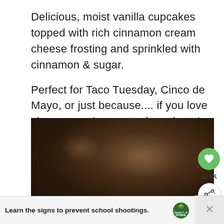Delicious, moist vanilla cupcakes topped with rich cinnamon cream cheese frosting and sprinkled with cinnamon & sugar.

Perfect for Taco Tuesday, Cinco de Mayo, or just because.... if you love churros, you're sure to love these!
[Figure (photo): Dark blurred photo of churro cupcakes on a dark background, with a green heart/save button showing 12.6K saves and a share button]
Learn the signs to prevent school shootings.